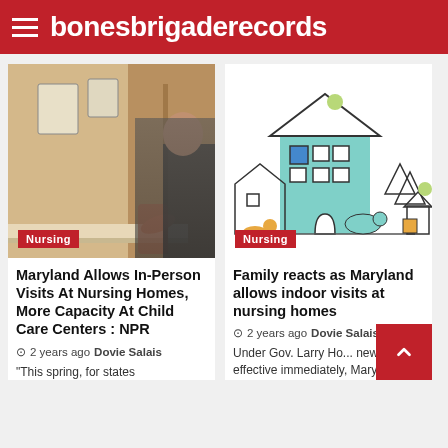bonesbrigaderecords
[Figure (photo): Person touching a wall in a nursing home hallway, warm beige tones]
Nursing
Maryland Allows In-Person Visits At Nursing Homes, More Capacity At Child Care Centers : NPR
2 years ago  Dovie Salais
"This spring, for states
[Figure (illustration): Illustrated neighborhood scene with cartoon house, trees, and animals in teal and outline style]
Nursing
Family reacts as Maryland allows indoor visits at nursing homes
2 years ago  Dovie Salais
Under Gov. Larry Ho... new orders, effective immediately, Marylanders